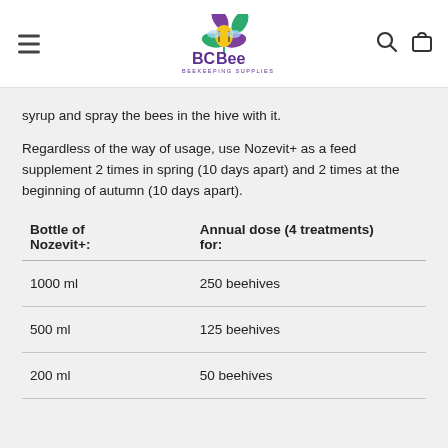BC Bee Beekeeping Supplies
syrup and spray the bees in the hive with it.
Regardless of the way of usage, use Nozevit+ as a feed supplement 2 times in spring (10 days apart) and 2 times at the beginning of autumn (10 days apart).
| Bottle of Nozevit+: | Annual dose (4 treatments) for: |
| --- | --- |
| 1000 ml | 250 beehives |
| 500 ml | 125 beehives |
| 200 ml | 50 beehives |